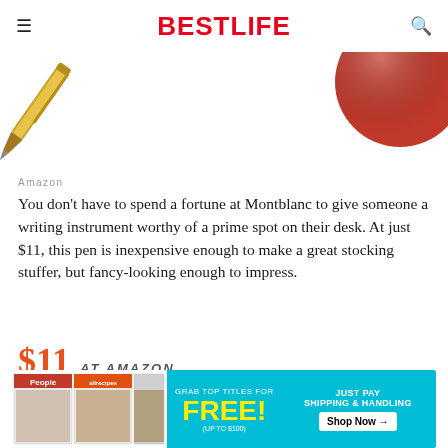BESTLIFE
[Figure (photo): Partial image showing a gold ballpoint pen tip on the left and what appears to be a red/gold ornament on the right, on a white background]
Amazon
You don't have to spend a fortune at Montblanc to give someone a writing instrument worthy of a prime spot on their desk. At just $11, this pen is inexpensive enough to make a great stocking stuffer, but fancy-looking enough to impress.
$11 AT AMAZON
[Figure (infographic): Advertisement banner: Grab top titles for FREE! (up to $100) Just pay shipping & handling. Shop Now arrow button. Shows People, allrecipes magazine covers.]